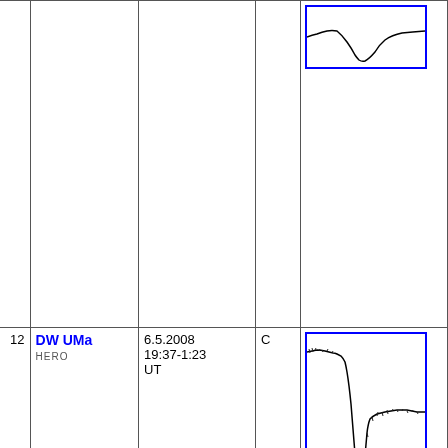| # | Name/Instrument | Date/Time (UT) | Type | Light Curve |
| --- | --- | --- | --- | --- |
| 12 | DW UMa / HERO | 6.5.2008 19:37-1:23 UT | C | [light curve chart] |
| 11 | DW UMa / HERO | 5.5.2008 18:57-1:36 UT | C | [light curve chart] |